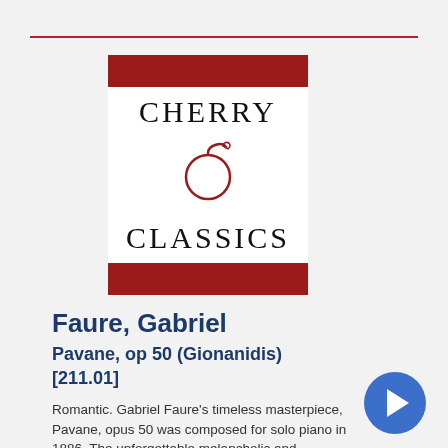[Figure (logo): Cherry Classics logo: dark red top and bottom bars, white middle section with 'CHERRY' text, a red cherry illustration, and 'CLASSICS' text in serif font]
Faure, Gabriel
Pavane, op 50 (Gionanidis) [211.01]
Romantic. Gabriel Faure's timeless masterpiece, Pavane, opus 50 was composed for solo piano in 1886. The unforgettable melancholic and